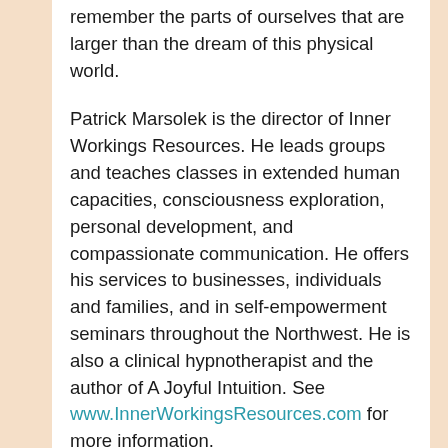remember the parts of ourselves that are larger than the dream of this physical world.
Patrick Marsolek is the director of Inner Workings Resources. He leads groups and teaches classes in extended human capacities, consciousness exploration, personal development, and  compassionate communication. He offers his services to businesses, individuals and families, and in self-empowerment seminars throughout the Northwest. He is also a clinical hypnotherapist and the author of A Joyful Intuition. See www.InnerWorkingsResources.com for more information.